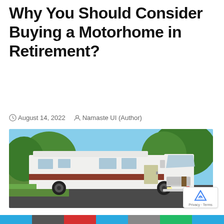Why You Should Consider Buying a Motorhome in Retirement?
August 14, 2022  Namaste UI (Author)
[Figure (photo): A white vintage motorhome/RV with a red stripe parked on a driveway surrounded by green trees and lawn.]
Privacy · Terms